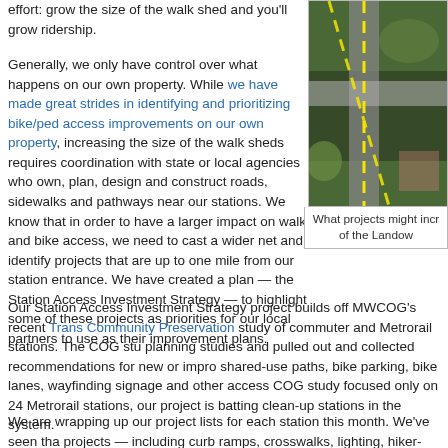effort:  grow the size of the walk shed and you'll grow ridership.
Generally, we only have control over what happens on our own property.  While we have made great strides in identifying and prioritizing bike/ped access improvements on our own property, increasing the size of the walk sheds requires coordination with state or local agencies who own, plan, design and construct roads, sidewalks and pathways near our stations.  We know that in order to have a larger impact on walk and bike access, we need to cast a wider net and identify projects that are up to one mile from our station entrance.  We have created a plan — the Station Access Investment Strategy — to highlight some of these projects as priorities for our local partners to use as their improvement plans.
[Figure (photo): Aerial/satellite view of a road intersection near a Metrorail station, with yellow dashed lines marking bike/ped paths overlaid on the image.]
What projects might incr of the Landow
Our Station Access Investment Strategy project builds off MWCOG's recent Trans Community Preservation study of commuter and Metrorail stations.  The COG stu planning studies and pulled out and collected recommendations for new or impro shared-use paths, bike parking, bike lanes, wayfinding signage and other access COG study focused only on 24 Metrorail stations, our project is batting clean-up stations in the system.
We are wrapping up our project lists for each station this month.  We've seen tha projects — including curb ramps, crosswalks, lighting, hiker-biker trails, bike lane